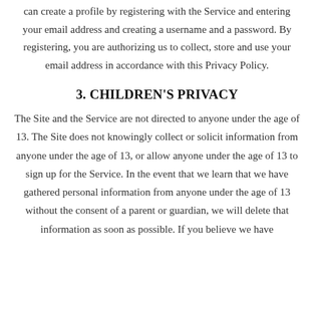can create a profile by registering with the Service and entering your email address and creating a username and a password. By registering, you are authorizing us to collect, store and use your email address in accordance with this Privacy Policy.
3. CHILDREN'S PRIVACY
The Site and the Service are not directed to anyone under the age of 13. The Site does not knowingly collect or solicit information from anyone under the age of 13, or allow anyone under the age of 13 to sign up for the Service. In the event that we learn that we have gathered personal information from anyone under the age of 13 without the consent of a parent or guardian, we will delete that information as soon as possible. If you believe we have